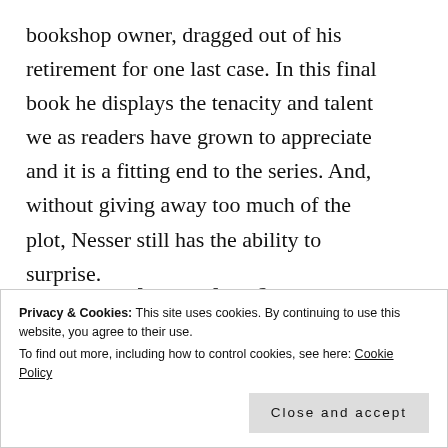bookshop owner, dragged out of his retirement for one last case. In this final book he displays the tenacity and talent we as readers have grown to appreciate and it is a fitting end to the series. And, without giving away too much of the plot, Nesser still has the ability to surprise.
[Figure (screenshot): Advertisement banner partially visible: 'The Platform Where WordPress Works Best' with a blue button partially cut off]
Privacy & Cookies: This site uses cookies. By continuing to use this website, you agree to their use.
To find out more, including how to control cookies, see here: Cookie Policy
Close and accept